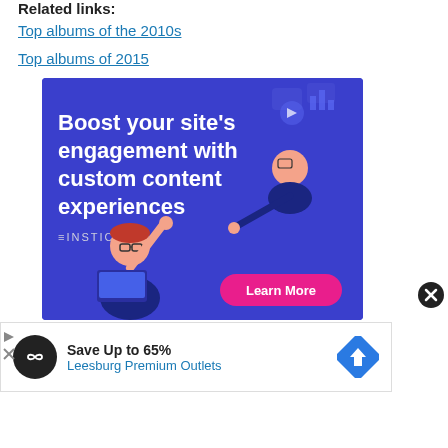Related links:
Top albums of the 2010s
Top albums of 2015
[Figure (illustration): Insticator advertisement banner: blue background with illustrated characters high-fiving and using a laptop. Text reads 'Boost your site's engagement with custom content experiences' with INSTICATOR logo and a pink 'Learn More' button.]
[Figure (illustration): Close button (dark circle with X) for dismissing the Insticator ad.]
[Figure (illustration): Bottom advertisement banner: 'Save Up to 65% Leesburg Premium Outlets' with black circular logo and blue diamond navigation icon.]